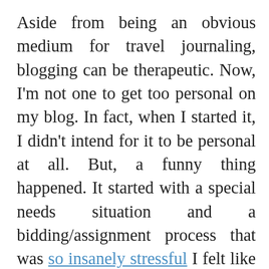Aside from being an obvious medium for travel journaling, blogging can be therapeutic. Now, I'm not one to get too personal on my blog. In fact, when I started it, I didn't intend for it to be personal at all. But, a funny thing happened. It started with a special needs situation and a bidding/assignment process that was so insanely stressful I felt like I had to write it down just to make sense of it. Then after we finally got to post, this thing or that thing kind of got on my nerves, and well, I wrote about it. And it turned out that people were more interested in reading those posts